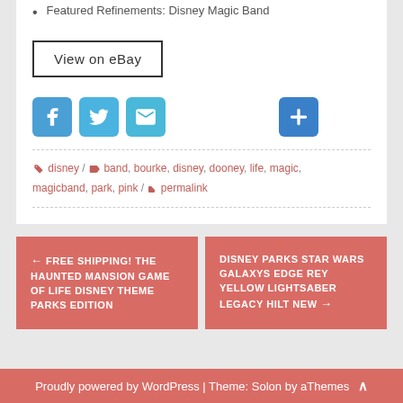Featured Refinements: Disney Magic Band
[Figure (screenshot): View on eBay button]
[Figure (screenshot): Social share icons: Facebook, Twitter, Email, and a + (add) button]
disney / band, bourke, disney, dooney, life, magic, magicband, park, pink / permalink
← FREE SHIPPING! THE HAUNTED MANSION GAME OF LIFE DISNEY THEME PARKS EDITION
DISNEY PARKS STAR WARS GALAXYS EDGE REY YELLOW LIGHTSABER LEGACY HILT NEW →
Proudly powered by WordPress | Theme: Solon by aThemes